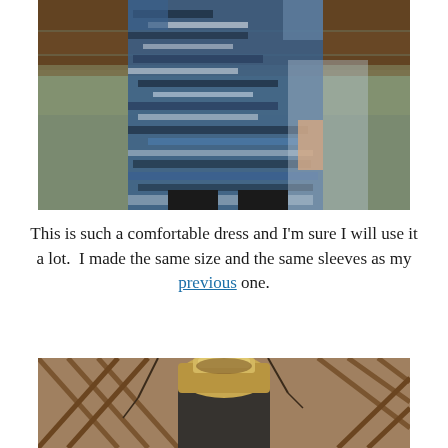[Figure (photo): A person wearing a blue, black and white abstract-patterned dress, standing outdoors near a wooden fence. The dress is knee-length and full-skirted. Black leggings visible below.]
This is such a comfortable dress and I'm sure I will use it a lot.  I made the same size and the same sleeves as my previous one.
[Figure (photo): A person seen from behind showing blonde/ombre hair, standing in front of a rustic wooden lattice fence with bare branches visible.]